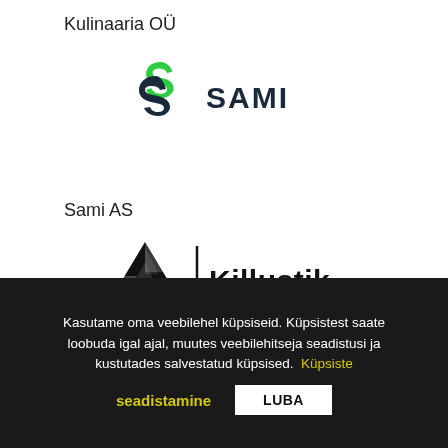Kulinaaria OÜ
[Figure (logo): Sami AS logo: green stylized S letter with dark SAMI text]
Sami AS
[Figure (logo): Killustik logo: black triangle/mountain shape with vertical bar and bold Killustik text]
Corestone Green OÜ
Kasutame oma veebilehel küpsiseid. Küpsistest saate loobuda igal ajal, muutes veebilehitseja seadistusi ja kustutades salvestatud küpsised. Küpsiste seadistamine LUBA